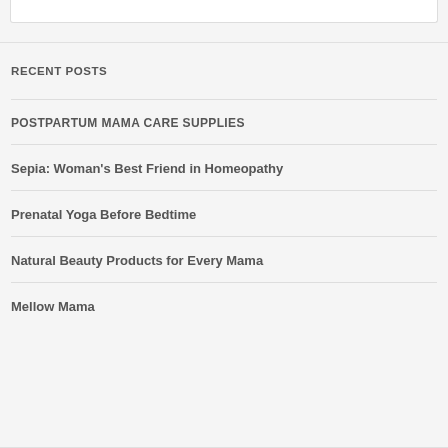RECENT POSTS
POSTPARTUM MAMA CARE SUPPLIES
Sepia: Woman's Best Friend in Homeopathy
Prenatal Yoga Before Bedtime
Natural Beauty Products for Every Mama
Mellow Mama